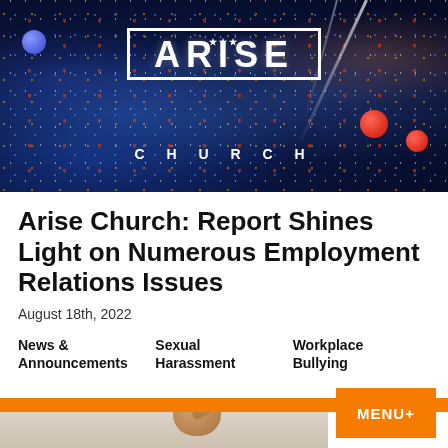[Figure (photo): Arise Church banner photo showing a large crowd at a church event with blue stage lighting, confetti, red decorative balls, and the ARISE CHURCH logo in a white box overlay]
Arise Church: Report Shines Light on Numerous Employment Relations Issues
August 18th, 2022
News & Announcements
Sexual Harassment
Workplace Bullying
[Figure (photo): Partial photo of a person (appears to be an older man) against a light background with an orange section on the right, with an orange navigation bar and MENU+ button overlaid]